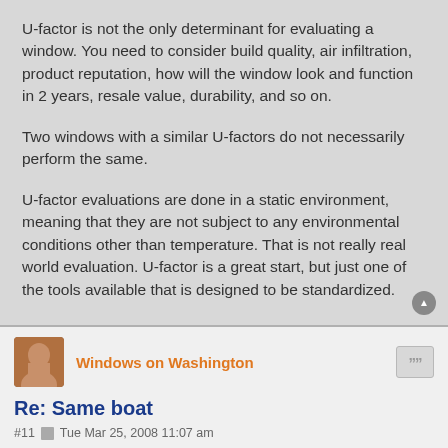U-factor is not the only determinant for evaluating a window. You need to consider build quality, air infiltration, product reputation, how will the window look and function in 2 years, resale value, durability, and so on.
Two windows with a similar U-factors do not necessarily perform the same.
U-factor evaluations are done in a static environment, meaning that they are not subject to any environmental conditions other than temperature. That is not really real world evaluation. U-factor is a great start, but just one of the tools available that is designed to be standardized.
Windows on Washington
Re: Same boat
#11  Tue Mar 25, 2008 11:07 am